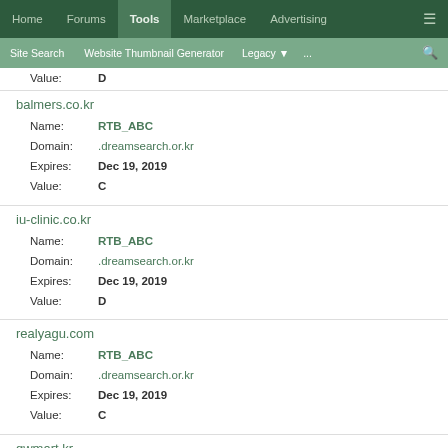Home | Forums | Tools | Marketplace | Advertising
Site Search | Website Thumbnail Generator | Legacy | ...
Value: D
balmers.co.kr
Name: RTB_ABC
Domain: .dreamsearch.or.kr
Expires: Dec 19, 2019
Value: C
iu-clinic.co.kr
Name: RTB_ABC
Domain: .dreamsearch.or.kr
Expires: Dec 19, 2019
Value: D
realyagu.com
Name: RTB_ABC
Domain: .dreamsearch.or.kr
Expires: Dec 19, 2019
Value: C
gwmart.kr
Name: RTB_ABC